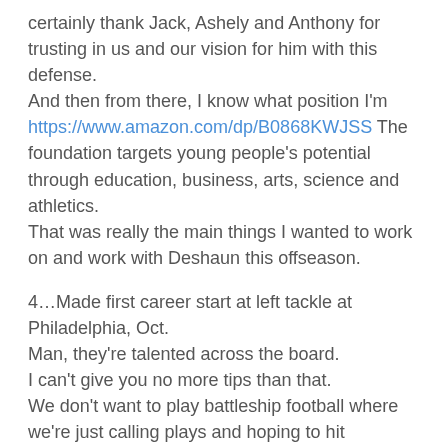certainly thank Jack, Ashely and Anthony for trusting in us and our vision for him with this defense. And then from there, I know what position I'm https://www.amazon.com/dp/B0868KWJSS The foundation targets young people's potential through education, business, arts, science and athletics. That was really the main things I wanted to work on and work with Deshaun this offseason.
4…Made first career start at left tackle at Philadelphia, Oct. Man, they're talented across the board. I can't give you no more tips than that. We don't want to play battleship football where we're just calling plays and hoping to hit something. Without getting into specifics with lineups, is it a challenge in games to tell guys to sit down and tell guys to take a breather? He's kind of the swag king in the family.